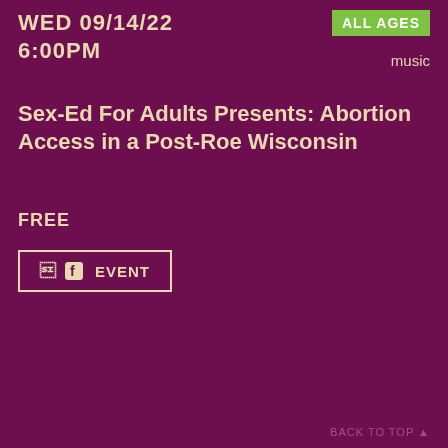WED 09/14/22
6:00PM
ALL AGES
music
Sex-Ed For Adults Presents: Abortion Access in a Post-Roe Wisconsin
FREE
EVENT
BACK TO TOP